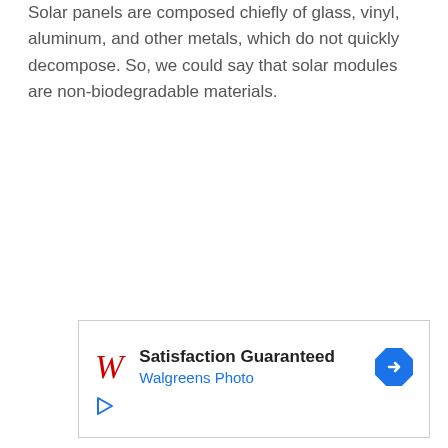Solar panels are composed chiefly of glass, vinyl, aluminum, and other metals, which do not quickly decompose. So, we could say that solar modules are non-biodegradable materials.
[Figure (other): Walgreens Photo advertisement banner with logo, 'Satisfaction Guaranteed' heading, 'Walgreens Photo' subheading in blue, a navigation/directions icon, and a play button icon.]